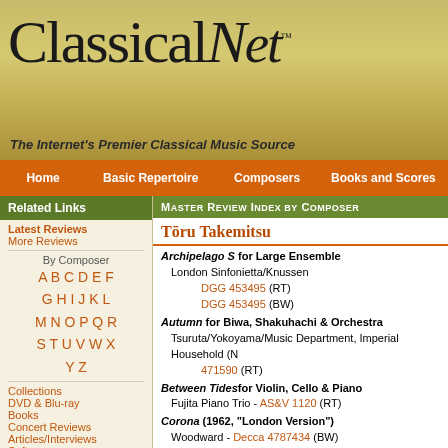[Figure (illustration): ClassicalNet website header banner with logo text 'Classical Net' in stylized serif font on golden/olive background with sheet music imagery]
Classical Net - The Internet's Premier Classical Music Source
Home | Basic Repertoire | Composers | Books and Scores
Related Links
Latest Reviews
More Reviews
By Composer
A B C D E F
G H I J K L
M N O P Q R
S T U V W X
Y Z
Collections
DVD & Blu-ray
Books
Concert Reviews
Articles/Interviews
Software
Audio
Find CDs & Downloads
Master Review Index by Composer
Tōru Takemitsu
Archipelago S for Large Ensemble
London Sinfonietta/Knussen
DGG 453495 (RT)
DGG 453495 (BW)
Autumn for Biwa, Shakuhachi & Orchestra
Tsuruta/Yokoyama/Music Department, Imperial Household (N)
471590 (RT)
Between Tides for Violin, Cello & Piano
Fujita Piano Trio - AS&V 1120 (RT)
Corona (1962, "London Version")
Woodward - Decca 4787434 (BW)
Day Signal - Antiphonal Fanfare for 2 Brass Choirs (Signa...
London Sinfonietta/Knussen
DGG 453495 (RT)
DGG 453495 (BW)
Distance for Oboe & Sho
Philip Jones Brass Ensemble - DG 4775381 (RT)